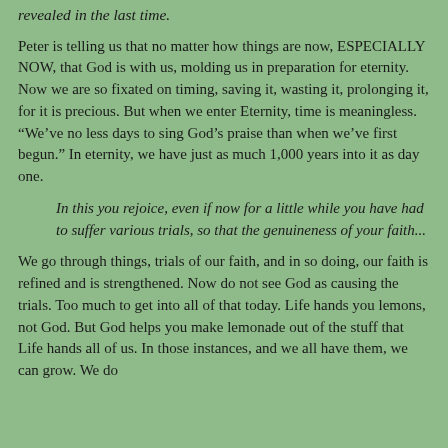revealed in the last time.
Peter is telling us that no matter how things are now, ESPECIALLY NOW, that God is with us, molding us in preparation for eternity. Now we are so fixated on timing, saving it, wasting it, prolonging it, for it is precious. But when we enter Eternity, time is meaningless. “We’ve no less days to sing God’s praise than when we’ve first begun.” In eternity, we have just as much 1,000 years into it as day one.
In this you rejoice, even if now for a little while you have had to suffer various trials, so that the genuineness of your faith...
We go through things, trials of our faith, and in so doing, our faith is refined and is strengthened. Now do not see God as causing the trials. Too much to get into all of that today. Life hands you lemons, not God. But God helps you make lemonade out of the stuff that Life hands all of us. In those instances, and we all have them, we can grow. We do